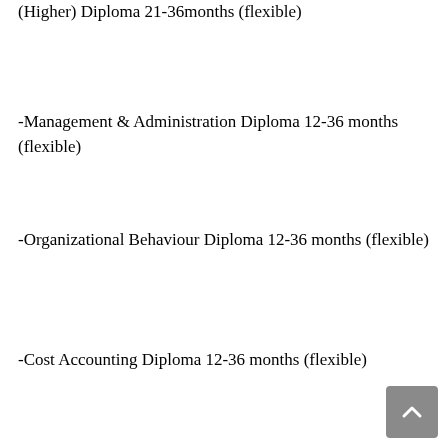(Higher) Diploma 21-36months (flexible)
-Management & Administration Diploma 12-36 months (flexible)
-Organizational Behaviour Diploma 12-36 months (flexible)
-Cost Accounting Diploma 12-36 months (flexible)